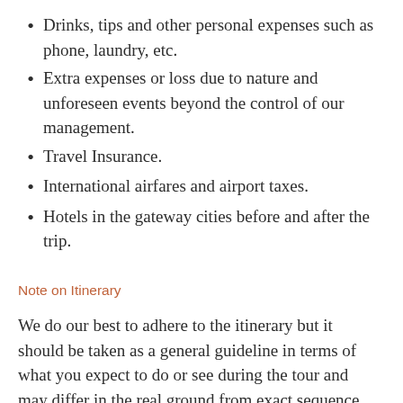Drinks, tips and other personal expenses such as phone, laundry, etc.
Extra expenses or loss due to nature and unforeseen events beyond the control of our management.
Travel Insurance.
International airfares and airport taxes.
Hotels in the gateway cities before and after the trip.
Note on Itinerary
We do our best to adhere to the itinerary but it should be taken as a general guideline in terms of what you expect to do or see during the tour and may differ in the real ground from exact sequence or order of the sights to the overnight places depending on